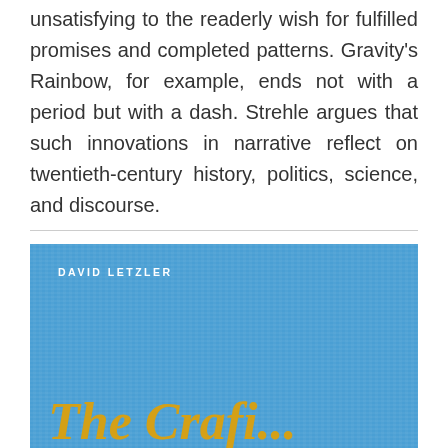unsatisfying to the readerly wish for fulfilled promises and completed patterns. Gravity's Rainbow, for example, ends not with a period but with a dash. Strehle argues that such innovations in narrative reflect on twentieth-century history, politics, science, and discourse.
[Figure (photo): Book cover showing 'The Craft...' by David Letzler on a blue textured background with gold italic title text]